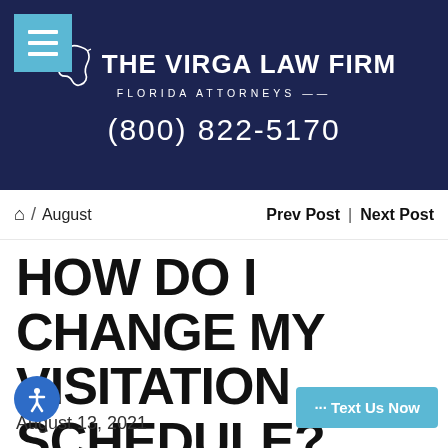[Figure (logo): The Virga Law Firm logo with Florida outline, firm name, and tagline FLORIDA ATTORNEYS, plus phone number (800) 822-5170 on dark navy background]
🏠 / August    Prev Post | Next Post
HOW DO I CHANGE MY VISITATION SCHEDULE?
August 13, 2021